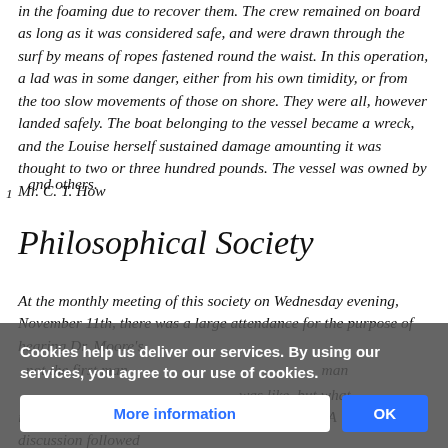in the foaming due to recover them. The crew remained on board as long as it was considered safe, and were drawn through the surf by means of ropes fastened round the waist. In this operation, a lad was in some danger, either from his own timidity, or from the too slow movements of those on shore. They were all, however landed safely. The boat belonging to the vessel became a wreck, and the Louise herself sustained damage amounting it was thought to two or three hundred pounds. The vessel was owned by Mr. C. T. How and others.
Philosophical Society
At the monthly meeting of this society on Wednesday evening, November 11th, there was a large attendance for the purpose of hearing Dr. Moore's ... not the first man ... was like, but what it could do, was the ... animals. A discussion followed...